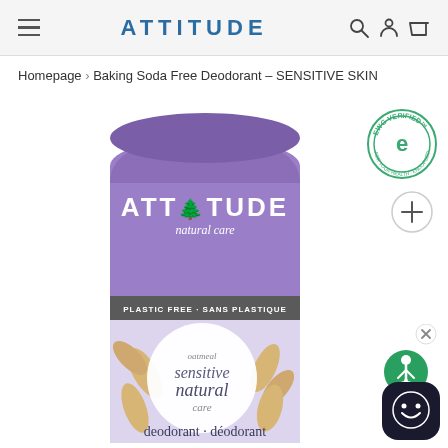ATTITUDE
Homepage › Baking Soda Free Deodorant – SENSITIVE SKIN
[Figure (photo): ATTITUDE natural care baking soda free deodorant product in purple cardboard tube packaging, oatmeal sensitive natural care scent, with oat plant decorations, labeled 'PLASTIC FREE · SANS PLASTIQUE', 'deodorant · déodorant', CHAMOMILE / Hypoallergenic baking soda free, CAMOMILLE - Hypoallergénique sans bicarbonate de soude]
[Figure (logo): EWG Verified circular badge in green - For Your Health, Endorsed]
[Figure (other): Plus (+) circular button for expanding content]
[Figure (other): Accessibility icon button (green circle with person icon) and X close button]
[Figure (other): Chat/support icon button (dark rounded square with smiley face)]